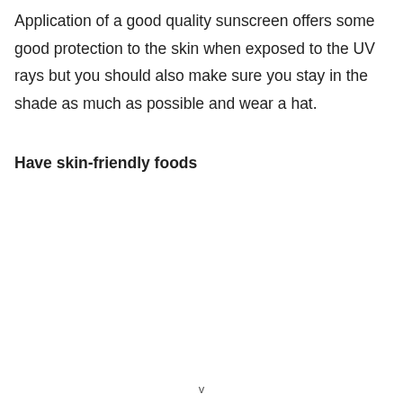Application of a good quality sunscreen offers some good protection to the skin when exposed to the UV rays but you should also make sure you stay in the shade as much as possible and wear a hat.
Have skin-friendly foods